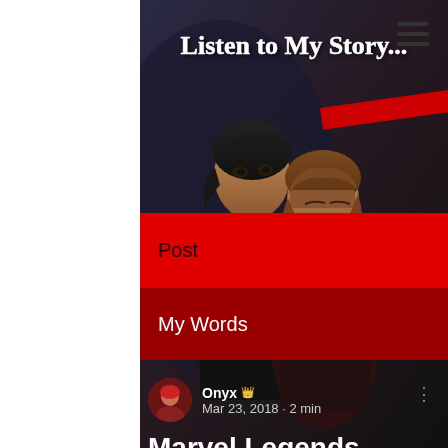Listen to My Story...
Post
My Words
[Figure (illustration): Anime-style illustration of two characters back to back, dark moody background with red diagonal accent stripe. Left white sidebar visible.]
Onyx 👑
Mar 23, 2018 · 2 min
Marvel Legends Lizard BAF: Spider-Punk
Updated: Mar 9, 2019